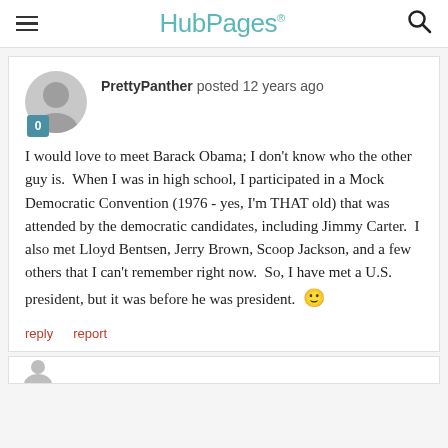HubPages
PrettyPanther posted 12 years ago
I would love to meet Barack Obama; I don't know who the other guy is.  When I was in high school, I participated in a Mock Democratic Convention (1976 - yes, I'm THAT old) that was attended by the democratic candidates, including Jimmy Carter.  I also met Lloyd Bentsen, Jerry Brown, Scoop Jackson, and a few others that I can't remember right now.  So, I have met a U.S. president, but it was before he was president. 🙂
reply   report